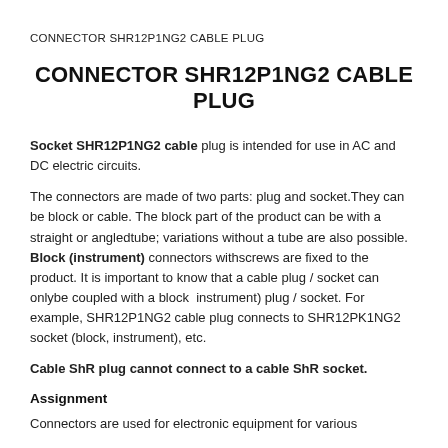CONNECTOR SHR12P1NG2 CABLE PLUG
CONNECTOR SHR12P1NG2 CABLE PLUG
Socket SHR12P1NG2 cable plug is intended for use in AC and DC electric circuits.
The connectors are made of two parts: plug and socket.They can be block or cable. The block part of the product can be with a straight or angledtube; variations without a tube are also possible. Block (instrument) connectors withscrews are fixed to the product. It is important to know that a cable plug / socket can onlybe coupled with a block  instrument) plug / socket. For example, SHR12P1NG2 cable plug connects to SHR12PK1NG2 socket (block, instrument), etc.
Cable ShR plug cannot connect to a cable ShR socket.
Assignment
Connectors are used for electronic equipment for various